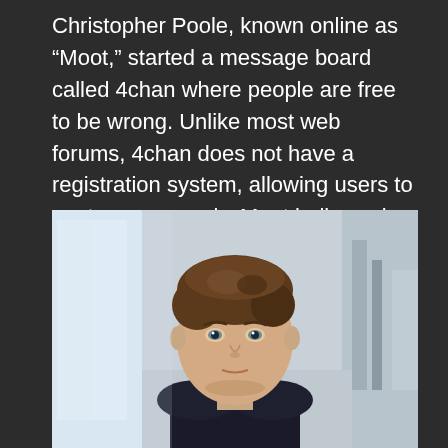Christopher Poole, known online as “Moot,” started a message board called 4chan where people are free to be wrong. Unlike most web forums, 4chan does not have a registration system, allowing users to post anonymously. Moot believes in the value of multiple identities, including anonymity, in contrast to the merge of online and real-world identities occurring on Facebook and many other social networking sites.
[Figure (photo): A young man with brown wavy hair and blue/grey eyes, wearing a dark t-shirt, sitting indoors near large windows with natural light. He is looking directly at the camera with a neutral expression. The background shows modern architecture with stairs and glass.]